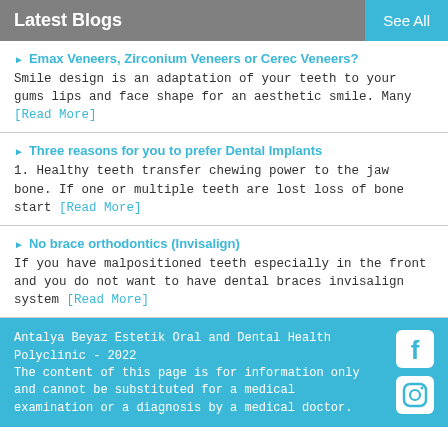Latest Blogs
Emax Veneers, Zirconium Veneers or Cerec Veneers? Smile design is an adaptation of your teeth to your gums lips and face shape for an aesthetic smile. Many [Read More]
Three reasons for you to prefer Dental Implants 1. Healthy teeth transfer chewing power to the jaw bone. If one or multiple teeth are lost loss of bone start [Read More]
No brace orthodontics (Invisalign) If you have malpositioned teeth especially in the front and you do not want to have dental braces invisalign system [Read More]
Antalya Beyaz Estetik Oral and Dental Health Polyclinic - 2022
The content of this page is for information only and cannot be substituted for a medical examination or a diagnosis by a medical doctor.